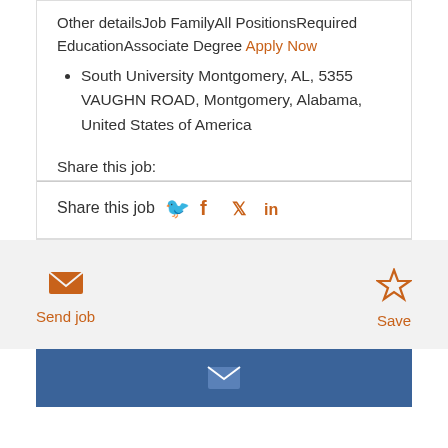Other detailsJob FamilyAll PositionsRequired EducationAssociate Degree Apply Now
South University Montgomery, AL, 5355 VAUGHN ROAD, Montgomery, Alabama, United States of America
Share this job:
Share this job [Facebook] [Twitter] [LinkedIn]
Send job
Save